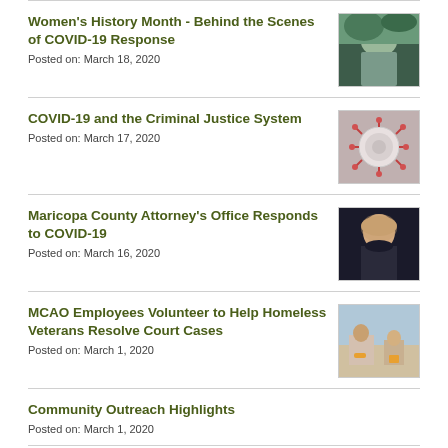Women's History Month - Behind the Scenes of COVID-19 Response
Posted on: March 18, 2020
[Figure (photo): Photo of a person in an outdoor mountain setting]
COVID-19 and the Criminal Justice System
Posted on: March 17, 2020
[Figure (photo): Close-up image of COVID-19 coronavirus particle]
Maricopa County Attorney's Office Responds to COVID-19
Posted on: March 16, 2020
[Figure (photo): Portrait photo of a woman with blonde hair]
MCAO Employees Volunteer to Help Homeless Veterans Resolve Court Cases
Posted on: March 1, 2020
[Figure (photo): Photo of people at a table volunteering]
Community Outreach Highlights
Posted on: March 1, 2020
Celebrating Women's History Month